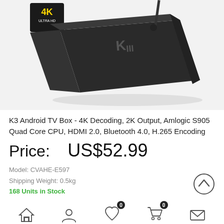[Figure (photo): Product photo of K3 Android TV Box, a dark grey set-top box with antenna and KIII branding, 4K Ultra HD badge in top-left corner]
K3 Android TV Box - 4K Decoding, 2K Output, Amlogic S905 Quad Core CPU, HDMI 2.0, Bluetooth 4.0, H.265 Encoding
Price:    US$52.99
Model: CVAHE-E597
Shipping Weight: 0.5kg
168 Units in Stock
[Figure (infographic): Bottom navigation bar with home icon, user/person icon, heart/wishlist icon with badge 0, shopping cart icon with badge 0, envelope/mail icon, and scroll-to-top circle button]